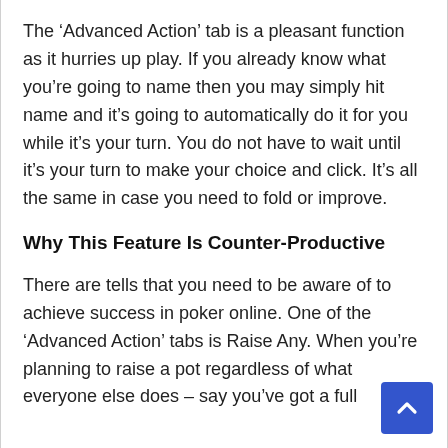The ‘Advanced Action’ tab is a pleasant function as it hurries up play. If you already know what you’re going to name then you may simply hit name and it’s going to automatically do it for you while it’s your turn. You do not have to wait until it’s your turn to make your choice and click. It’s all the same in case you need to fold or improve.
Why This Feature Is Counter-Productive
There are tells that you need to be aware of to achieve success in poker online. One of the ‘Advanced Action’ tabs is Raise Any. When you’re planning to raise a pot regardless of what everyone else does – say you’ve got a full